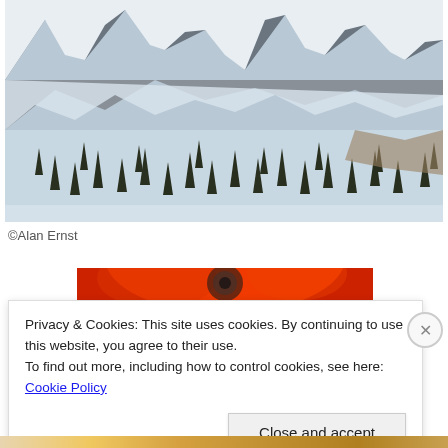[Figure (photo): Aerial or telephoto view of a snow-covered mountain landscape with dark evergreen trees scattered across steep slopes and rocky peaks]
©Alan Ernst
[Figure (photo): Partial view of a red object, possibly a vehicle or equipment]
Privacy & Cookies: This site uses cookies. By continuing to use this website, you agree to their use.
To find out more, including how to control cookies, see here: Cookie Policy
Close and accept